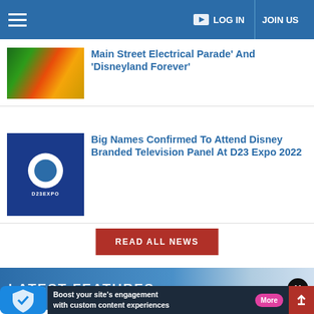LOG IN   JOIN US
Main Street Electrical Parade' And 'Disneyland Forever'
Big Names Confirmed To Attend Disney Branded Television Panel At D23 Expo 2022
READ ALL NEWS
LATEST FEATURES
Boost your site's engagement with custom content experiences